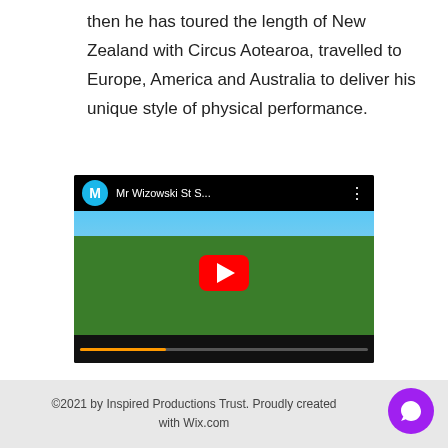then he has toured the length of New Zealand with Circus Aotearoa, travelled to Europe, America and Australia to deliver his unique style of physical performance.
[Figure (screenshot): Embedded YouTube video thumbnail showing a performer balancing on a pole outdoors with green trees and blue sky, with a YouTube play button overlay and channel name 'Mr Wizowski St S...' in the top bar.]
©2021 by Inspired Productions Trust. Proudly created with Wix.com